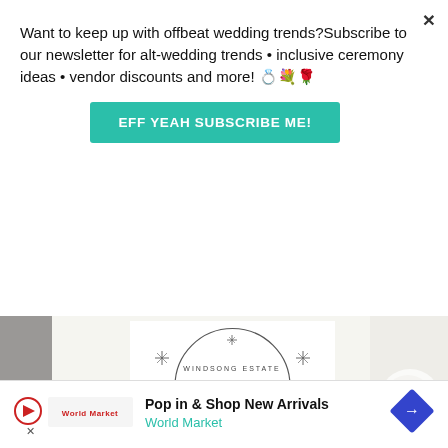Want to keep up with offbeat wedding trends?Subscribe to our newsletter for alt-wedding trends • inclusive ceremony ideas • vendor discounts and more! 💍💐🌹
EFF YEAH SUBSCRIBE ME!
[Figure (photo): Close-up of a white letterpress wedding invitation with decorative lightburst/sunburst radiating lines design and text reading WINDSONG ESTATE, 100 Bernadino, ca. A white flower (ranunculus) is visible on the right side, gray background on the left.]
LIGHTBURST LETTERPRESS INVITATIONS
Trending Invitations | Minted
[Figure (screenshot): Advertisement banner: Pop in & Shop New Arrivals - World Market, with play button icon, World Market logo, and blue diamond arrow icon.]